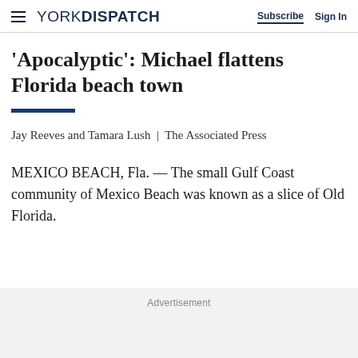YORK DISPATCH  Subscribe  Sign In
'Apocalyptic': Michael flattens Florida beach town
Jay Reeves and Tamara Lush  |  The Associated Press
MEXICO BEACH, Fla. — The small Gulf Coast community of Mexico Beach was known as a slice of Old Florida.
Advertisement